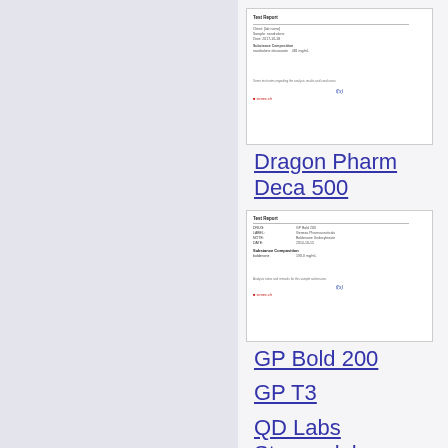[Figure (screenshot): Thumbnail of a lab test report document]
Dragon Pharma Deca 500
[Figure (screenshot): Thumbnail of a lab test report document for GP Bold 200]
GP Bold 200
GP T3
QD Labs Stanozolol
GP Sust 270